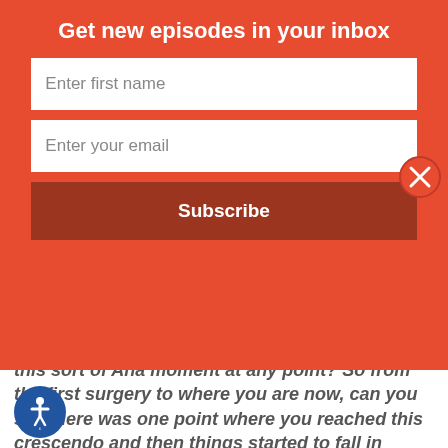Get new episodes in your inbox
Enter first name
Enter your email
Subscribe
this sort of Aha moment at any point? So from the first surgery to where you are now, can you say there was one point where you reached this crescendo and then things started to fall in place?
Leda McDaniel:  17:24  Yeah. Thinking back, I think, I can't pinpoint a specific time point that I would say generally it was about the time when I was forced to take a break from school. So it was almost at the lowest point where I wasn't able to walk on my leg, wasn't able to touch my knee because a sensitivity pain had gotten bad that it really taken me out of a normal functioning, productive life. And somewhere around that